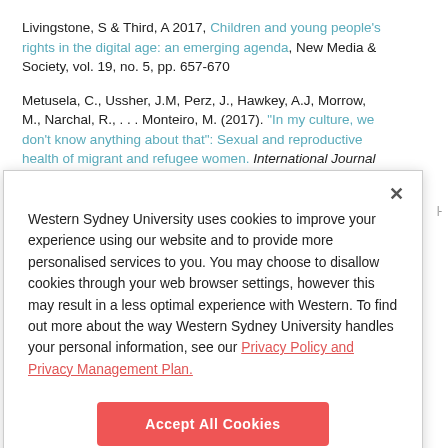Livingstone, S & Third, A 2017, Children and young people's rights in the digital age: an emerging agenda, New Media & Society, vol. 19, no. 5, pp. 657-670
Metusela, C., Ussher, J.M, Perz, J., Hawkey, A.J, Morrow, M., Narchal, R., . . . Monteiro, M. (2017). "In my culture, we don't know anything about that": Sexual and reproductive health of migrant and refugee women. International Journal of Behavioral Medicine, 24(6), 836-845.
Western Sydney University uses cookies to improve your experience using our website and to provide more personalised services to you. You may choose to disallow cookies through your web browser settings, however this may result in a less optimal experience with Western. To find out more about the way Western Sydney University handles your personal information, see our Privacy Policy and Privacy Management Plan.